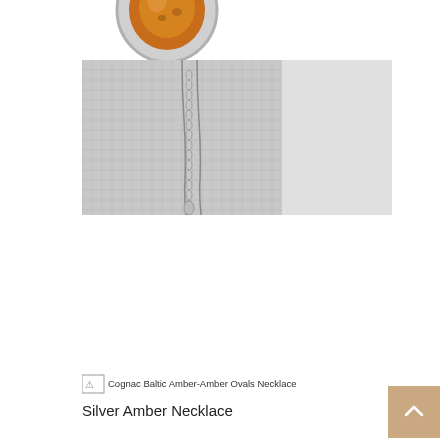[Figure (photo): Cognac Baltic amber oval piece with silver setting, top product photo (partially cropped)]
[Figure (photo): Black and white photo showing a silver necklace with amber pendant hanging against a textured fabric background]
[Figure (photo): Broken image placeholder: Cognac Baltic Amber-Amber Ovals Necklace]
Silver Amber Necklace